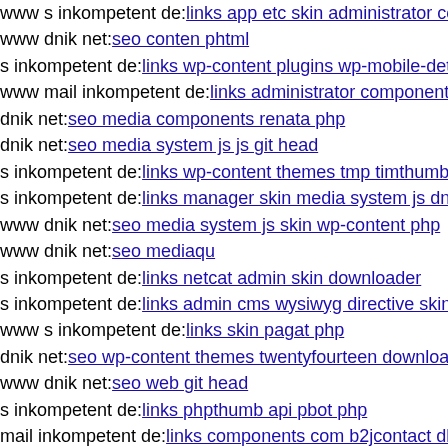www s inkompetent de: links app etc skin administrator co
www dnik net: seo conten phtml
s inkompetent de: links wp-content plugins wp-mobile-det
www mail inkompetent de: links administrator component
dnik net: seo media components renata php
dnik net: seo media system js js git head
s inkompetent de: links wp-content themes tmp timthumb
s inkompetent de: links manager skin media system js dnik
www dnik net: seo media system js skin wp-content php
www dnik net: seo mediaqu
s inkompetent de: links netcat admin skin downloader
s inkompetent de: links admin cms wysiwyg directive skin
www s inkompetent de: links skin pagat php
dnik net: seo wp-content themes twentyfourteen download
www dnik net: seo web git head
s inkompetent de: links phpthumb api pbot php
mail inkompetent de: links components com b2jcontact dlc
www s inkompetent de: links manager skin wp-content plu
dnik net: seo media system js sites default
www s inkompetent de: links app etc skin jwallpapers files
s inkompetent de: links wp-content plugins xichang x php